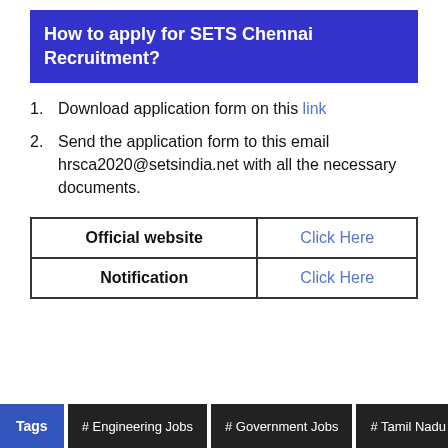How to apply for SETS Chennai Recruitment?
Download application form on this link
Send the application form to this email hrsca2020@setsindia.net with all the necessary documents.
|  |  |
| --- | --- |
| Official website | Click Here |
| Notification | Click Here |
Tags  # Engineering Jobs  # Government Jobs  # Tamil Nadu